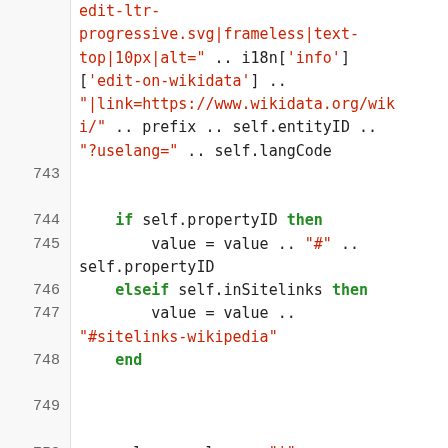[Figure (screenshot): Source code listing (Lua/wiki template code), lines 743-750, showing code with line numbers on the left and syntax-highlighted code on the right. Keywords in green bold, string literals in red, identifiers in black monospace.]